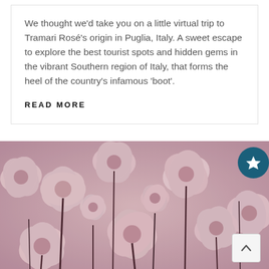We thought we'd take you on a little virtual trip to Tramari Rosé's origin in Puglia, Italy. A sweet escape to explore the best tourist spots and hidden gems in the vibrant Southern region of Italy, that forms the heel of the country's infamous 'boot'.
READ MORE
[Figure (photo): Close-up photo of pink tulips densely packed together, with a teal circular star badge in the top-right corner and a back-to-top arrow button in the bottom-right corner.]